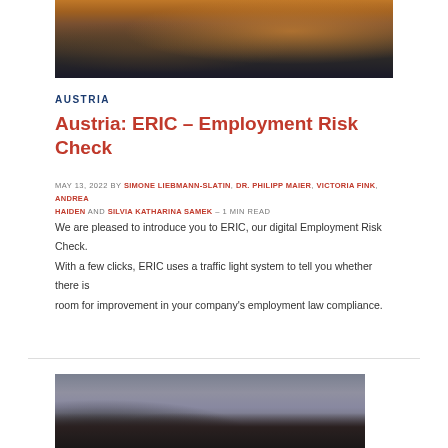[Figure (photo): Nighttime photo of an ornate European building (Vienna opera house or similar) illuminated with warm amber and orange lights against a dark sky]
AUSTRIA
Austria: ERIC – Employment Risk Check
MAY 13, 2022 by SIMONE LIEBMANN-SLATIN, DR. PHILIPP MAIER, VICTORIA FINK, ANDREA HAIDEN AND SILVIA KATHARINA SAMEK – 1 MIN READ
We are pleased to introduce you to ERIC, our digital Employment Risk Check. With a few clicks, ERIC uses a traffic light system to tell you whether there is room for improvement in your company's employment law compliance.
[Figure (photo): Outdoor photo of a monument or statue silhouetted against a dramatic cloudy sky at dusk, with a building visible in the background]